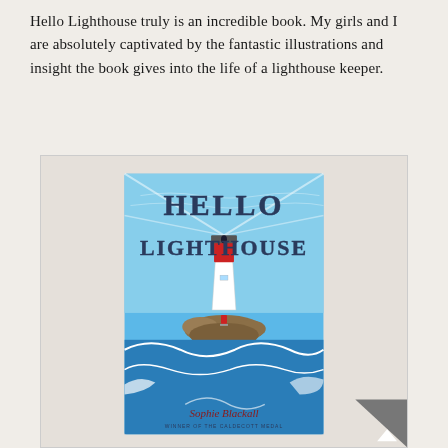Hello Lighthouse truly is an incredible book. My girls and I are absolutely captivated by the fantastic illustrations and insight the book gives into the life of a lighthouse keeper.
[Figure (photo): A photograph of the children's book 'Hello Lighthouse' by Sophie Blackall, Winner of the Caldecott Medal. The book cover shows a white lighthouse with a red top sitting on rocky outcroppings surrounded by blue ocean waves, with the title 'Hello Lighthouse' in large illustrated letters and the author's name in cursive script at the bottom.]